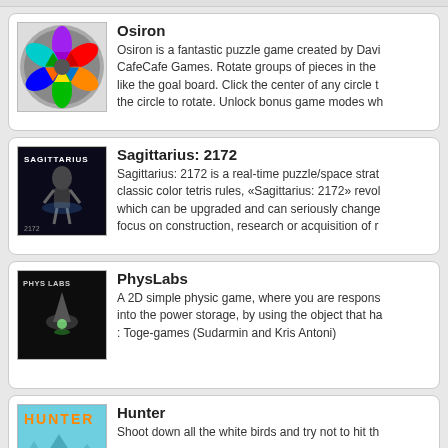[Figure (screenshot): Top partial card cut off at top of page]
Osiron
Osiron is a fantastic puzzle game created by David CafeCafe Games. Rotate groups of pieces in the goal board. Click the center of any circle to the circle to rotate. Unlock bonus game modes wh
Sagittarius: 2172
Sagittarius: 2172 is a real-time puzzle/space strat classic color tetris rules, «Sagittarius: 2172» revol which can be upgraded and can seriously change focus on construction, research or acquisition of r
PhysLabs
A 2D simple physic game, where you are respons into the power storage, by using the object that ha : Toge-games (Sudarmin and Kris Antoni)
Hunter
Shoot down all the white birds and try not to hit th